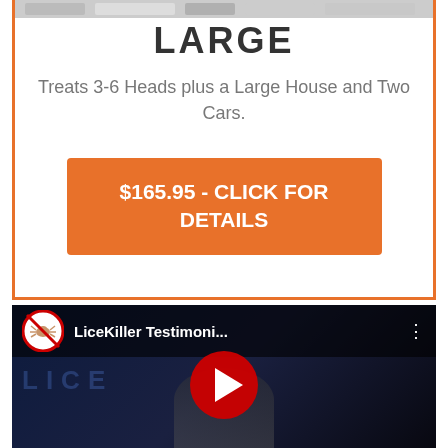[Figure (photo): Partial view of a product image at top of card]
LARGE
Treats 3-6 Heads plus a Large House and Two Cars.
$165.95 - CLICK FOR DETAILS
[Figure (screenshot): YouTube video thumbnail showing LiceKiller Testimonials with play button, lice icon, and person in background]